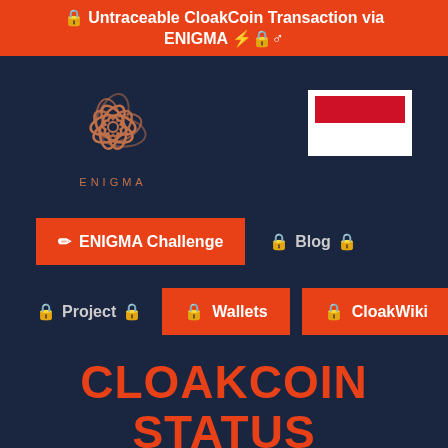🔒 Untraceable CloakCoin Transaction via ENIGMA ⚡🔒♂
[Figure (logo): ENIGMA logo: swirling flower-like orange symbol above text ENIGMA]
[Figure (illustration): Indonesian flag (red over white horizontal stripes) in white-bordered box]
✏ ENIGMA Challenge
🔒 Blog 🔒
🔒 Project 🔒
🔒 Wallets
🔒 CloakWiki
CLOAKCOIN STATUS REPORT ON DEVELOPMENT, EXCHANGES & MARKETING Q1